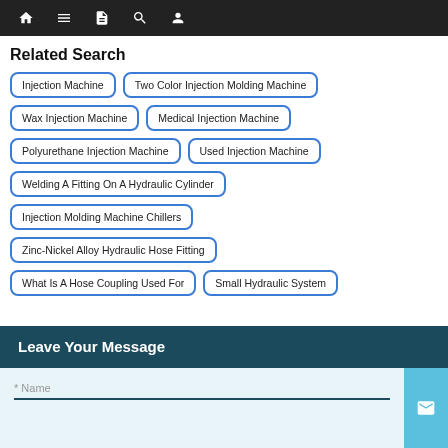Navigation bar with home, menu, document, search, user icons
Related Search
Injection Machine
Two Color Injection Molding Machine
Wax Injection Machine
Medical Injection Machine
Polyurethane Injection Machine
Used Injection Machine
Welding A Fitting On A Hydraulic Cylinder
Injection Molding Machine Chillers
Zinc-Nickel Alloy Hydraulic Hose Fitting
What Is A Hose Coupling Used For
Small Hydraulic System
Leave Your Message
* Name